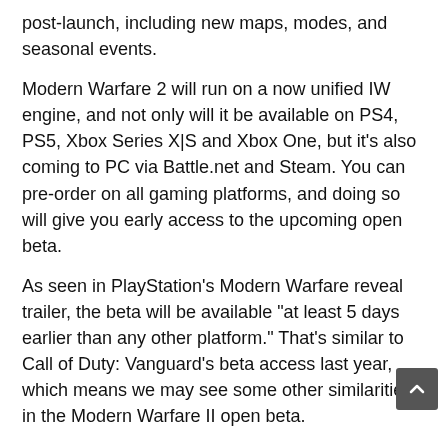post-launch, including new maps, modes, and seasonal events.
Modern Warfare 2 will run on a now unified IW engine, and not only will it be available on PS4, PS5, Xbox Series X|S and Xbox One, but it's also coming to PC via Battle.net and Steam. You can pre-order on all gaming platforms, and doing so will give you early access to the upcoming open beta.
As seen in PlayStation's Modern Warfare reveal trailer, the beta will be available "at least 5 days earlier than any other platform." That's similar to Call of Duty: Vanguard's beta access last year, which means we may see some other similarities in the Modern Warfare II open beta.
When is the Modern Warfare 2 open beta?